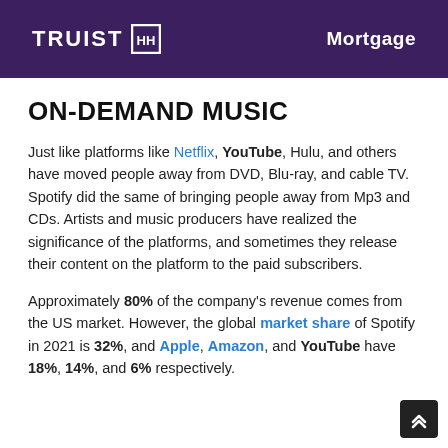TRUIST Mortgage
ON-DEMAND MUSIC
Just like platforms like Netflix, YouTube, Hulu, and others have moved people away from DVD, Blu-ray, and cable TV. Spotify did the same of bringing people away from Mp3 and CDs. Artists and music producers have realized the significance of the platforms, and sometimes they release their content on the platform to the paid subscribers.
Approximately 80% of the company's revenue comes from the US market. However, the global market share of Spotify in 2021 is 32%, and Apple, Amazon, and YouTube have 18%, 14%, and 6% respectively.